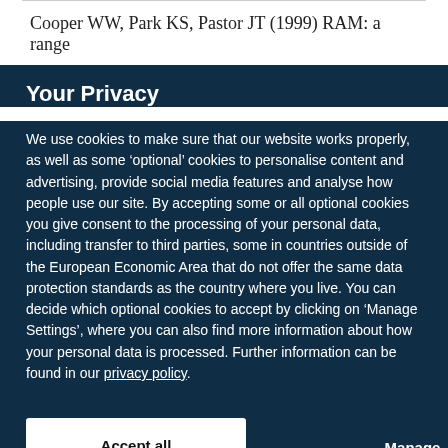Cooper WW, Park KS, Pastor JT (1999) RAM: a range
Your Privacy
We use cookies to make sure that our website works properly, as well as some ‘optional’ cookies to personalise content and advertising, provide social media features and analyse how people use our site. By accepting some or all optional cookies you give consent to the processing of your personal data, including transfer to third parties, some in countries outside of the European Economic Area that do not offer the same data protection standards as the country where you live. You can decide which optional cookies to accept by clicking on ‘Manage Settings’, where you can also find more information about how your personal data is processed. Further information can be found in our privacy policy.
Accept all cookies
Manage preferences